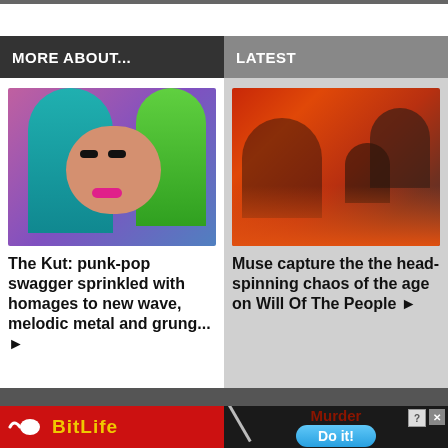MORE ABOUT...
LATEST
[Figure (photo): Woman with colorful teal and green hair against a pink/purple background]
The Kut: punk-pop swagger sprinkled with homages to new wave, melodic metal and grung... ▶
[Figure (photo): Abstract fiery chaotic scene with dark figures, orange and red tones]
Muse capture the the head-spinning chaos of the age on Will Of The People ▶
[Figure (screenshot): BitLife game advertisement with red background and yellow logo]
[Figure (screenshot): Mobile game ad showing Murder Do it! with blue button]